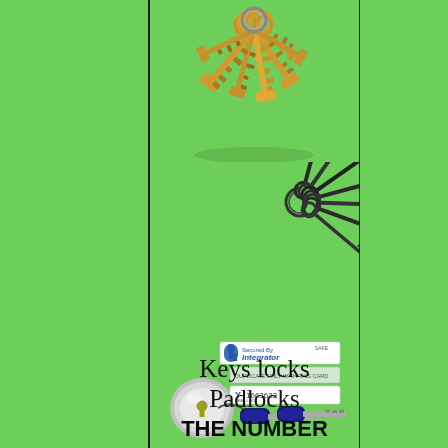[Figure (photo): Bunch of gold/brass house keys on a keyring, viewed from above against green background]
[Figure (photo): Several black skeleton keys on a metal ring, fanned out against green background]
[Figure (photo): A silver door knob lock cylinder with two modern car-style black key fobs/keys with metal blades, and security stickers reading 'Secured By Integrator' and a number tag]
Keys locks
Padlocks
THE NUMBER